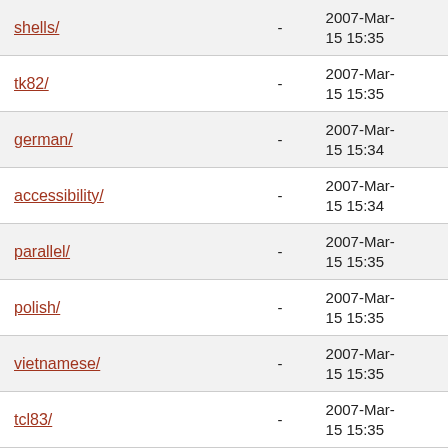| Name | Size | Date |
| --- | --- | --- |
| shells/ | - | 2007-Mar-15 15:35 |
| tk82/ | - | 2007-Mar-15 15:35 |
| german/ | - | 2007-Mar-15 15:34 |
| accessibility/ | - | 2007-Mar-15 15:34 |
| parallel/ | - | 2007-Mar-15 15:35 |
| polish/ | - | 2007-Mar-15 15:35 |
| vietnamese/ | - | 2007-Mar-15 15:35 |
| tcl83/ | - | 2007-Mar-15 15:35 |
| tk83/ | - | 2007-Mar-15 15:35 |
| french/ | - | 2007-Mar-15 15:34 |
| java/ | - | 2007-Mar-15 15:34 |